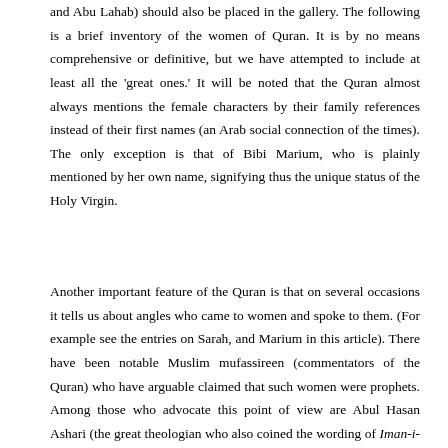and Abu Lahab) should also be placed in the gallery. The following is a brief inventory of the women of Quran. It is by no means comprehensive or definitive, but we have attempted to include at least all the 'great ones.' It will be noted that the Quran almost always mentions the female characters by their family references instead of their first names (an Arab social connection of the times). The only exception is that of Bibi Marium, who is plainly mentioned by her own name, signifying thus the unique status of the Holy Virgin.
Another important feature of the Quran is that on several occasions it tells us about angles who came to women and spoke to them. (For example see the entries on Sarah, and Marium in this article). There have been notable Muslim mufassireen (commentators of the Quran) who have arguable claimed that such women were prophets. Among those who advocate this point of view are Abul Hasan Ashari (the great theologian who also coined the wording of Iman-i-Mujammi), Muhammad bin Ishaq, Qurtabi